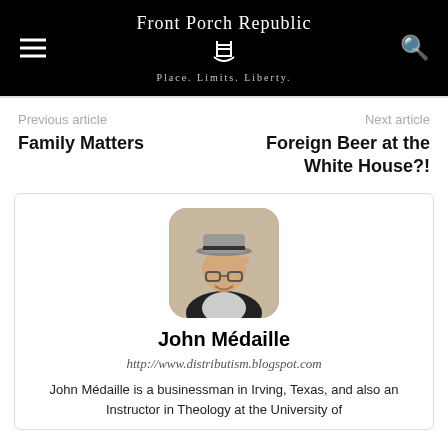Front Porch Republic — Place. Limits. Liberty.
Previous article
Family Matters
Next article
Foreign Beer at the White House?!
[Figure (photo): Headshot of John Médaille, an older man wearing a hat and glasses, smiling.]
John Médaille
http://www.distributism.blogspot.com
John Médaille is a businessman in Irving, Texas, and also an Instructor in Theology at the University of